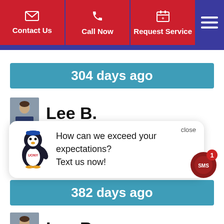[Figure (screenshot): Mobile app navigation bar with three red buttons: Contact Us (envelope icon), Call Now (phone icon), Request Service (calendar icon), and a hamburger menu icon on dark blue background]
304 days ago
[Figure (photo): Avatar photo of reviewer Lee B., a person in a jacket]
Lee B.
[Figure (illustration): Chat popup with penguin mascot wearing UONY text, with message: How can we exceed your expectations? Text us now! with close button]
382 days ago
[Figure (photo): Avatar photo of reviewer Lee B., a person in a jacket]
Lee B.